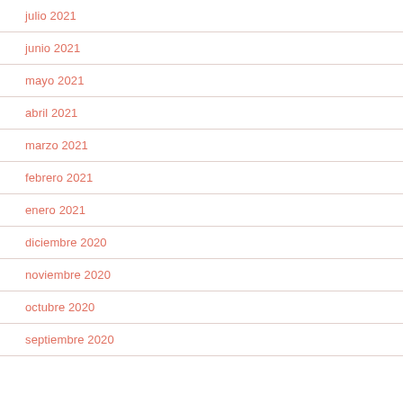julio 2021
junio 2021
mayo 2021
abril 2021
marzo 2021
febrero 2021
enero 2021
diciembre 2020
noviembre 2020
octubre 2020
septiembre 2020